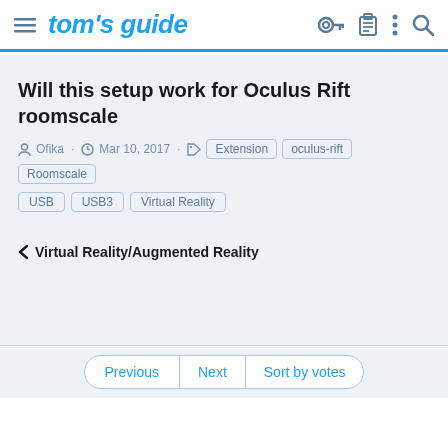tom's guide
Will this setup work for Oculus Rift roomscale
Ofika · Mar 10, 2017 · Extension  oculus-rift  Roomscale  USB  USB3  Virtual Reality
< Virtual Reality/Augmented Reality
Previous | Next | Sort by votes